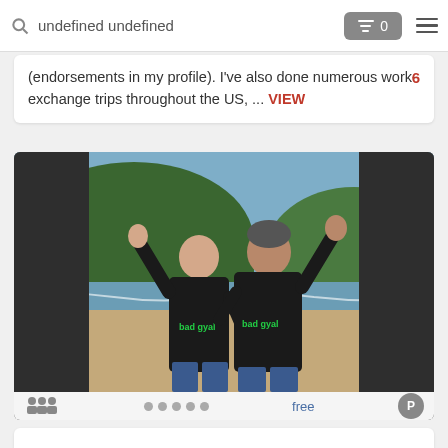undefined undefined
(endorsements in my profile). I've also done numerous work-exchange trips throughout the US, ... VIEW   6
[Figure (photo): Two people wearing black hooded sweatshirts with green text standing on a beach with arms raised, a forested hill and ocean visible in the background]
free